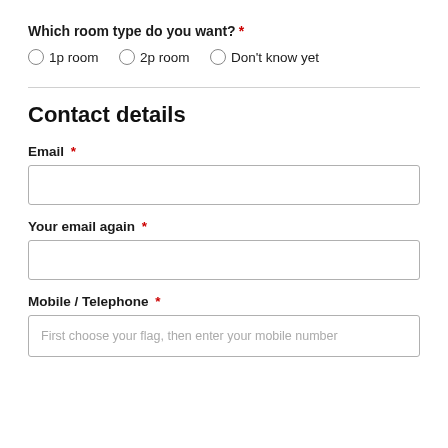Which room type do you want? *
1p room
2p room
Don't know yet
Contact details
Email *
Your email again *
Mobile / Telephone *
First choose your flag, then enter your mobile number